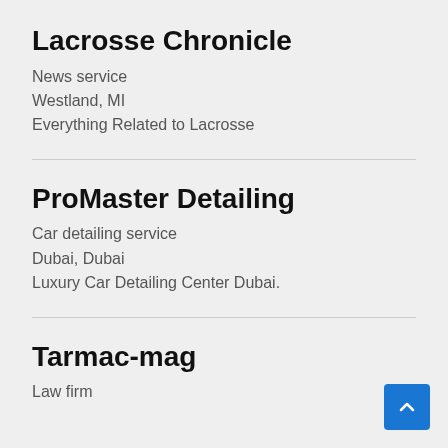Lacrosse Chronicle
News service
Westland, MI
Everything Related to Lacrosse
ProMaster Detailing
Car detailing service
Dubai, Dubai
Luxury Car Detailing Center Dubai.
Tarmac-mag
Law firm